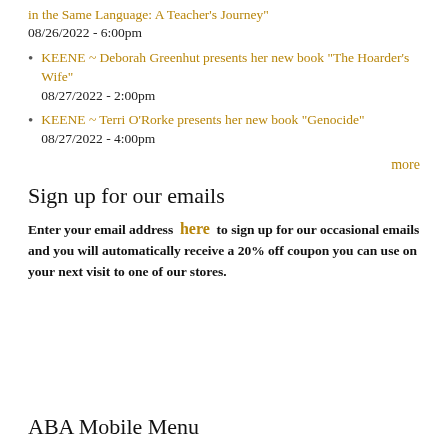in the Same Language: A Teacher's Journey"
08/26/2022 - 6:00pm
KEENE ~ Deborah Greenhut presents her new book "The Hoarder's Wife"
08/27/2022 - 2:00pm
KEENE ~ Terri O'Rorke presents her new book "Genocide"
08/27/2022 - 4:00pm
more
Sign up for our emails
Enter your email address  here  to sign up for our occasional emails and you will automatically receive a 20% off coupon you can use on your next visit to one of our stores.
ABA Mobile Menu